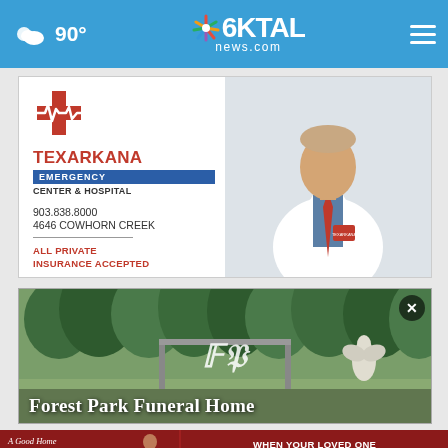90° KTAL 6 news.com
[Figure (photo): Advertisement for Texarkana Emergency Center & Hospital featuring a doctor in a white coat. Shows cross logo, phone 903.838.8000, address 4646 Cowhorn Creek, and 'ALL PRIVATE INSURANCE ACCEPTED']
[Figure (photo): Advertisement for Forest Park Funeral Home showing an outdoor shot with trees, an angel statue, and ornamental gate signage.]
[Figure (photo): Bottom banner ad for A Good Home Care Services LLC with phone 318-688- and text 'WHEN YOUR LOVED ONE NEEDS EXTRA SPECIAL CARE, WE'LL BE THERE']